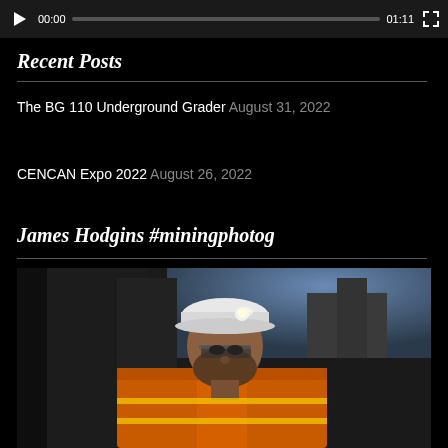[Figure (screenshot): Video player bar showing play button, timestamp 00:00, progress bar, duration 01:11, and fullscreen button on dark background]
Recent Posts
The BG 110 Underground Grader August 31, 2022
CENCAN Expo 2022 August 26, 2022
James Hodgins #miningphotog
[Figure (photo): Portrait of a male mining worker wearing an orange high-visibility vest, safety glasses, and a white hard hat with a headlamp. He is looking at the camera with industrial equipment and cloudy sky in the background.]